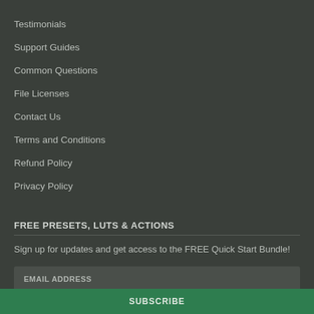Testimonials
Support Guides
Common Questions
File Licenses
Contact Us
Terms and Conditions
Refund Policy
Privacy Policy
FREE PRESETS, LUTS & ACTIONS
Sign up for updates and get access to the FREE Quick Start Bundle!
EMAIL ADDRESS
SUBSCRIBE